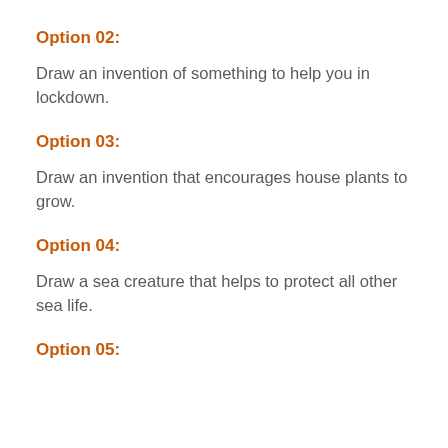Option 02:
Draw an invention of something to help you in lockdown.
Option 03:
Draw an invention that encourages house plants to grow.
Option 04:
Draw a sea creature that helps to protect all other sea life.
Option 05: